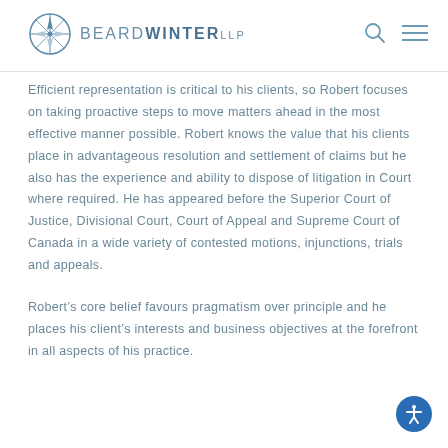BEARDWINTER LLP
Efficient representation is critical to his clients, so Robert focuses on taking proactive steps to move matters ahead in the most effective manner possible.  Robert knows the value that his clients place in advantageous resolution and settlement of claims but he also has the experience and ability to dispose of litigation in Court where required.  He has appeared before the Superior Court of Justice, Divisional Court, Court of Appeal and Supreme Court of Canada in a wide variety of contested motions, injunctions, trials and appeals.
Robert’s core belief favours pragmatism over principle and he places his client’s interests and business objectives at the forefront in all aspects of his practice.